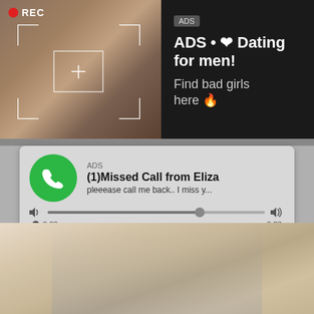[Figure (screenshot): Top ad banner: left side shows a woman taking a selfie with a phone, camera recording frame overlay with REC indicator. Right side shows dark background with ad text: ADS • ❤ Dating for men! Find bad girls here 🔥]
ADS
(1)Missed Call from Eliza
pleeease call me back.. I miss y...
[Figure (screenshot): Audio ad card with green phone icon circle, ADS label, title (1)Missed Call from Eliza, subtitle pleeease call me back.. I miss y..., audio progress bar with volume icons, time stamps 0:00 and 3:23, playback controls (rewind, play, fast-forward)]
[Figure (photo): Bottom portion of image showing a young blonde woman lying on a bed wearing a blue shirt and headset with microphone, holding a game controller]